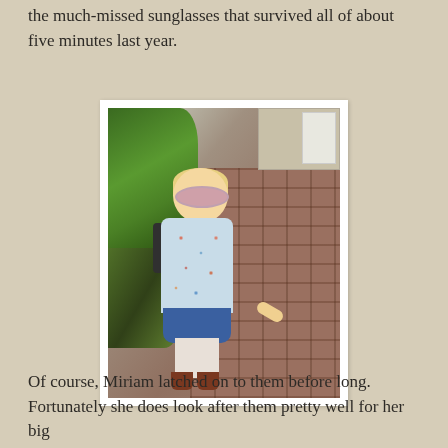the much-missed sunglasses that survived all of about five minutes last year.
[Figure (photo): A young blonde girl wearing large round pink sunglasses, a floral jacket, denim skirt, and brown boots, standing on a brick driveway with greenery in the background.]
Of course, Miriam latched on to them before long. Fortunately she does look after them pretty well for her big